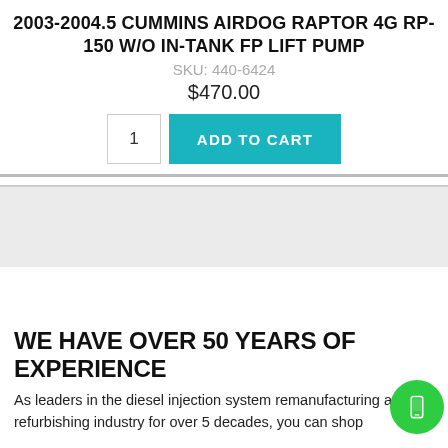2003-2004.5 CUMMINS AIRDOG RAPTOR 4G RP-150 W/O IN-TANK FP LIFT PUMP
SKU: 440-6424
$470.00
WE HAVE OVER 50 YEARS OF EXPERIENCE
As leaders in the diesel injection system remanufacturing and refurbishing industry for over 5 decades, you can shop